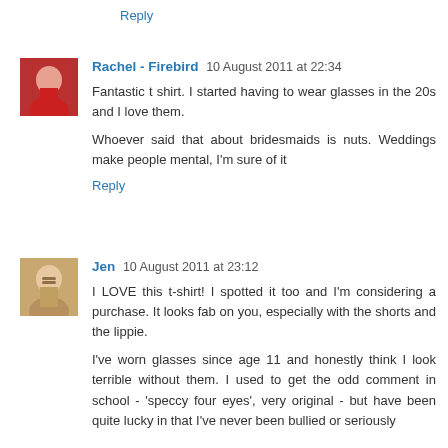Reply
Rachel - Firebird  10 August 2011 at 22:34
Fantastic t shirt. I started having to wear glasses in the 20s and I love them.

Whoever said that about bridesmaids is nuts. Weddings make people mental, I'm sure of it

Reply
Jen  10 August 2011 at 23:12
I LOVE this t-shirt! I spotted it too and I'm considering a purchase. It looks fab on you, especially with the shorts and the lippie.

I've worn glasses since age 11 and honestly think I look terrible without them. I used to get the odd comment in school - 'speccy four eyes', very original - but have been quite lucky in that I've never been bullied or seriously